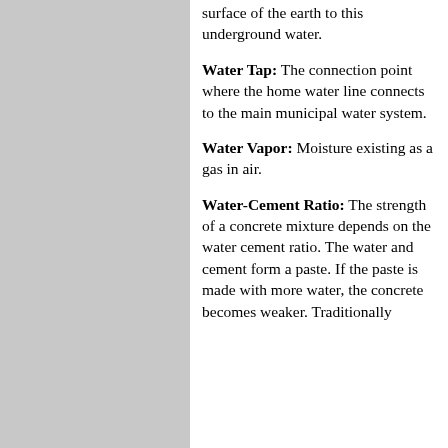surface of the earth to this underground water.
Water Tap: The connection point where the home water line connects to the main municipal water system.
Water Vapor: Moisture existing as a gas in air.
Water-Cement Ratio: The strength of a concrete mixture depends on the water cement ratio. The water and cement form a paste. If the paste is made with more water, the concrete becomes weaker. Traditionally